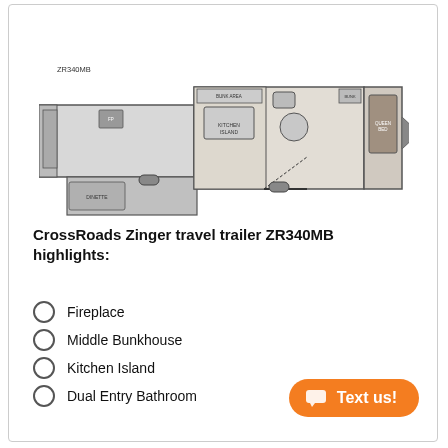[Figure (schematic): Floor plan schematic of CrossRoads Zinger travel trailer ZR340MB showing top-down layout with bunkhouse, bathroom, kitchen island area, and bedroom]
ZR340MB
CrossRoads Zinger travel trailer ZR340MB highlights:
Fireplace
Middle Bunkhouse
Kitchen Island
Dual Entry Bathroom